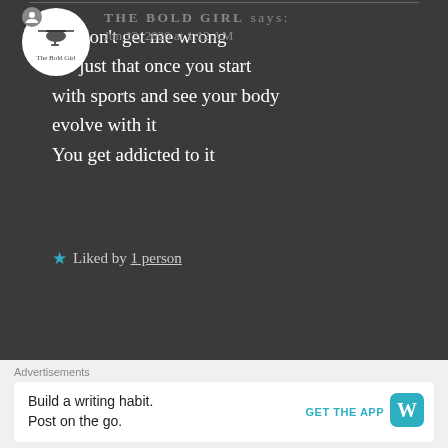Oh don't get me wrong
It's just that once you start
with sports and see your body
evolve with it
You get addicted to it
★ Liked by 1 person
THE BOLD GIRL says:
Jun 12, 2020 at 1:12 AM
I know. And I love being active.
Advertisements
Build a writing habit.
Post on the go.
GET THE APP